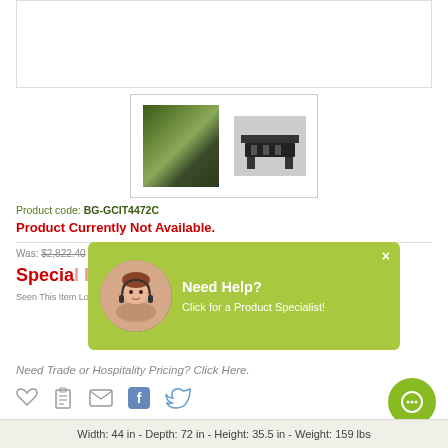[Figure (photo): Top white image area placeholder for product photo]
[Figure (photo): Thumbnail strip showing two product images: outdoor dining set with greenery, and standalone table silhouette]
Product code: BG-GCIT4472C
Product Currently Not Available.
Was: $2,822.40 - Save: $806 (20%)
Special Price: $2,016.00
Seen This Item Lower?
[Figure (infographic): Green help popup overlay with avatar: Need Help? Click for a Product Specialist!]
Need Trade or Hospitality Pricing? Click Here.
Width: 44 in - Depth: 72 in - Height: 35.5 in - Weight: 159 lbs